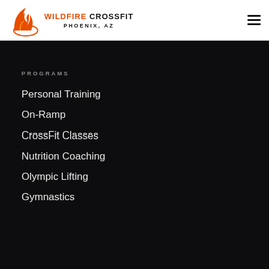[Figure (logo): Wildfire CrossFit Phoenix AZ logo with flame icon]
PROGRAMS
Personal Training
On-Ramp
CrossFit Classes
Nutrition Coaching
Olympic Lifting
Gymnastics